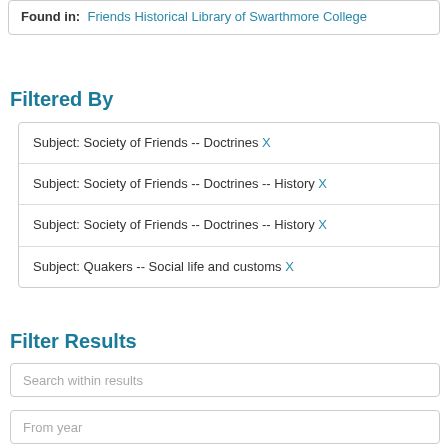Found in: Friends Historical Library of Swarthmore College
Filtered By
Subject: Society of Friends -- Doctrines X
Subject: Society of Friends -- Doctrines -- History X
Subject: Society of Friends -- Doctrines -- History X
Subject: Quakers -- Social life and customs X
Filter Results
Search within results
From year